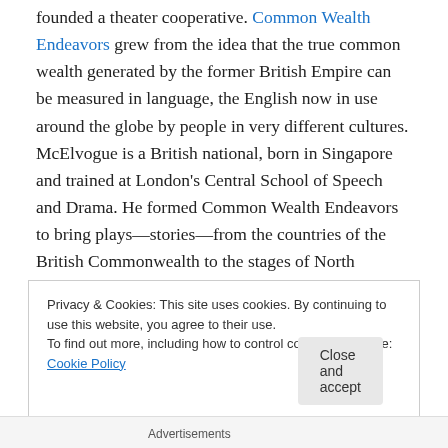founded a theater cooperative. Common Wealth Endeavors grew from the idea that the true common wealth generated by the former British Empire can be measured in language, the English now in use around the globe by people in very different cultures. McElvogue is a British national, born in Singapore and trained at London's Central School of Speech and Drama. He formed Common Wealth Endeavors to bring plays—stories—from the countries of the British Commonwealth to the stages of North Carolina's Triangle.
Privacy & Cookies: This site uses cookies. By continuing to use this website, you agree to their use. To find out more, including how to control cookies, see here: Cookie Policy
Close and accept
Advertisements